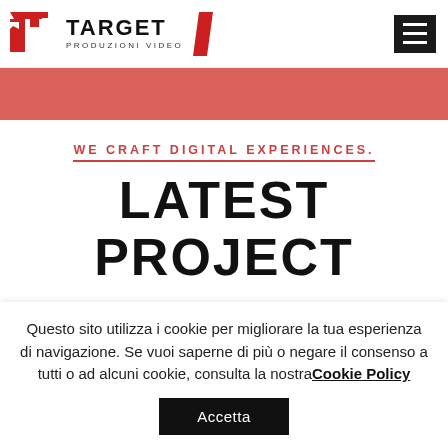[Figure (logo): Target Produzioni Video logo with red stylized T icon, brand name TARGET in bold, subtitle PRODUZIONI VIDEO, and a red diagonal slash]
[Figure (other): Dark hamburger menu icon (three horizontal white lines on black background) in the top right corner]
[Figure (other): Red/salmon color horizontal banner strip below the header]
WE CRAFT DIGITAL EXPERIENCES.
LATEST PROJECT
[Figure (other): Red/salmon color thin horizontal bar]
Questo sito utilizza i cookie per migliorare la tua esperienza di navigazione. Se vuoi saperne di più o negare il consenso a tutti o ad alcuni cookie, consulta la nostraCookie Policy
Accetta